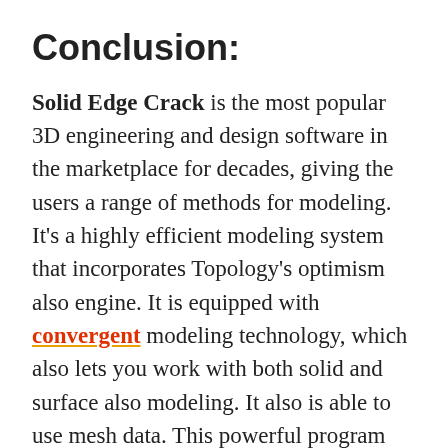Conclusion:
Solid Edge Crack is the most popular 3D engineering and design software in the marketplace for decades, giving the users a range of methods for modeling. It's a highly efficient modeling system that incorporates Topology's optimism also engine. It is equipped with convergent modeling technology, which also lets you work with both solid and surface also modeling. It also is able to use mesh data. This powerful program offers fascinating workflows. It allows you to use geometry from other sources such as laser scanners vendor models, or even combine the shapes with the